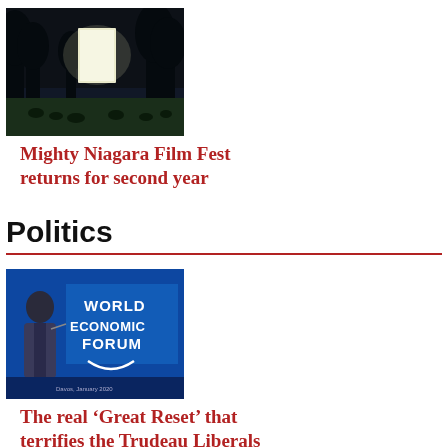[Figure (photo): Outdoor night cinema scene with people sitting under trees, bright screen visible in background]
Mighty Niagara Film Fest returns for second year
Politics
[Figure (photo): Person speaking at World Economic Forum podium with WEF logo behind them]
The real ‘Great Reset’ that terrifies the Trudeau Liberals
[Figure (photo): Woman speaking at a health care event, others visible in background wearing masks]
Ontario health care changes – they’re a start